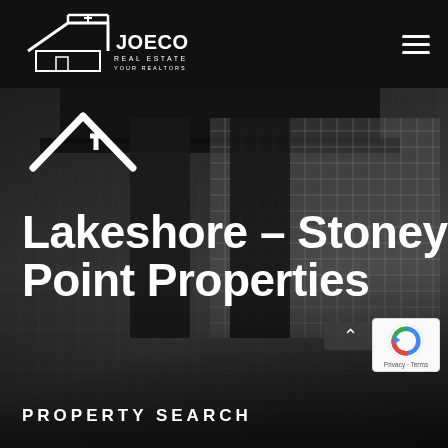[Figure (logo): Joe Conlon Real Estate Team logo — white house outline with text JOECONLON, REAL ESTATE TEAM, YOUR REALTORS FOR LIFE]
[Figure (photo): Dark monochrome photo of a modern building exterior with columns and tiled facade]
[Figure (illustration): White house/roof chevron icon above page title]
Lakeshore – Stoney Point Properties
PROPERTY SEARCH